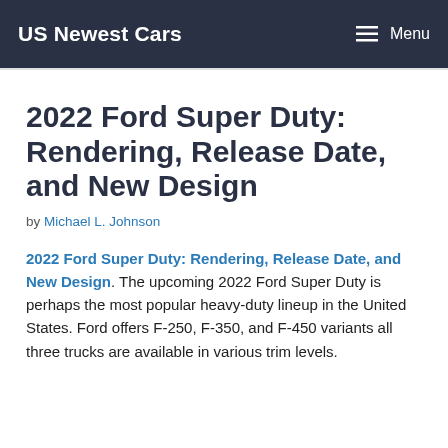US Newest Cars | Menu
2022 Ford Super Duty: Rendering, Release Date, and New Design
by Michael L. Johnson
2022 Ford Super Duty: Rendering, Release Date, and New Design. The upcoming 2022 Ford Super Duty is perhaps the most popular heavy-duty lineup in the United States. Ford offers F-250, F-350, and F-450 variants all three trucks are available in various trim levels.